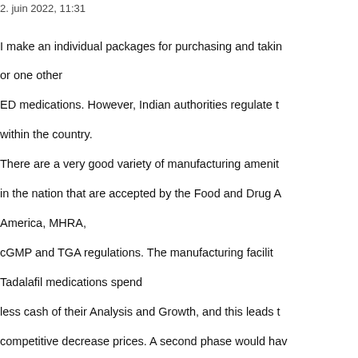2. juin 2022, 11:31
I make an individual packages for purchasing and taking or one other ED medications. However, Indian authorities regulate t within the country. There are a very good variety of manufacturing amenit in the nation that are accepted by the Food and Drug A America, MHRA, cGMP and TGA regulations. The manufacturing facilit Tadalafil medications spend less cash of their Analysis and Growth, and this leads t competitive decrease prices. A second phase would hav commonplace manufacturing procedures accompanied a typical laboratory approach to characterize each prod and adulteration of products harder. Among the a whole lot of generic medications that Cip Tadacip ( the second name is Tagra) is an efficient reso males. Also the case of the concern that discri